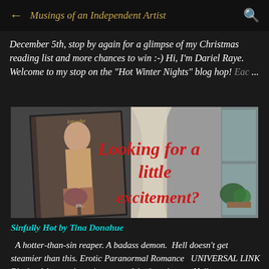← Musings of an Independent Artist 🔍
December 5th, stop by again for a glimpse of my Christmas reading list and more chances to win :-) Hi, I'm Dariel Raye. Welcome to my stop on the "Hot Winter Nights" blog hop! Eac ...
[Figure (photo): Book cover image of 'Sinfully Hot' showing a shirtless man and a woman, with red italic text overlay reading 'Looking for a little excitement?']
Sinfully Hot by Tina Donahue
A hotter-than-sin reaper. A badass demon.  Hell doesn't get steamier than this. Erotic Paranormal Romance   UNIVERSAL LINK Blurb:  A hotter-than-sin reaper. A badass demon. Hell